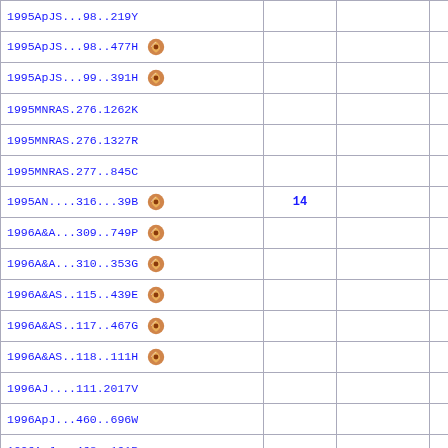| Reference |  |  |  |
| --- | --- | --- | --- |
| 1995ApJS...98..219Y |  |  |  |
| 1995ApJS...98..477H [vizier] |  |  |  |
| 1995ApJS...99..391H [vizier] |  |  |  |
| 1995MNRAS.276.1262K |  |  |  |
| 1995MNRAS.276.1327R |  |  |  |
| 1995MNRAS.277..845C |  |  |  |
| 1995AN....316...39B [vizier] | 14 |  | D |
| 1996A&A...309..749P [vizier] |  |  |  |
| 1996A&A...310..353G [vizier] |  |  |  |
| 1996A&AS..115..439E [vizier] |  |  |  |
| 1996A&AS..117..467G [vizier] |  |  |  |
| 1996A&AS..118..111H [vizier] |  |  |  |
| 1996AJ....111.2017V |  |  |  |
| 1996ApJ...460..696W |  |  |  |
| 1996ApJ...468..191P |  |  |  |
| 1996ApJ...470..814D |  |  |  |
| 1996ApJ...471..190R |  |  |  |